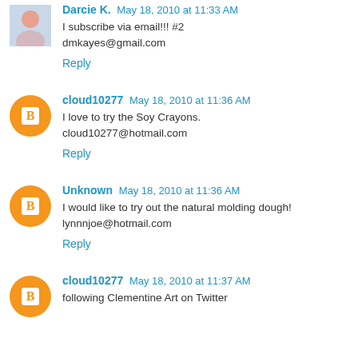Darcie K. May 18, 2010 at 11:33 AM
I subscribe via email!!! #2
dmkayes@gmail.com
Reply
cloud10277 May 18, 2010 at 11:36 AM
I love to try the Soy Crayons.
cloud10277@hotmail.com
Reply
Unknown May 18, 2010 at 11:36 AM
I would like to try out the natural molding dough!
lynnnjoe@hotmail.com
Reply
cloud10277 May 18, 2010 at 11:37 AM
following Clementine Art on Twitter